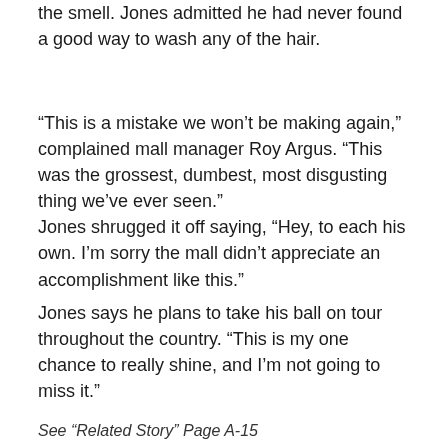the smell. Jones admitted he had never found a good way to wash any of the hair.
“This is a mistake we won’t be making again,” complained mall manager Roy Argus. “This was the grossest, dumbest, most disgusting thing we’ve ever seen.”
Jones shrugged it off saying, “Hey, to each his own. I’m sorry the mall didn’t appreciate an accomplishment like this.”
Jones says he plans to take his ball on tour throughout the country. “This is my one chance to really shine, and I’m not going to miss it.”
See “Related Story” Page A-15